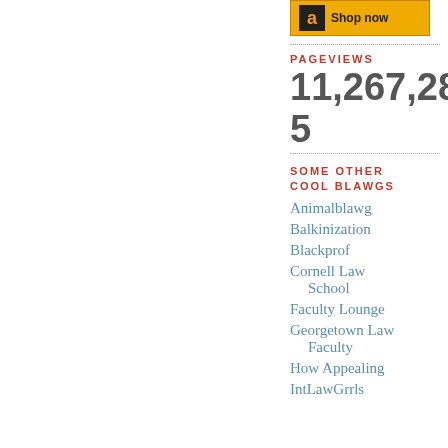[Figure (other): Amazon 'Shop now' button with orange background and Amazon 'a' logo]
PAGEVIEWS
11,267,285
SOME OTHER COOL BLAWGS
Animalblawg
Balkinization
Blackprof
Cornell Law School
Faculty Lounge
Georgetown Law Faculty
How Appealing
IntLawGrrls